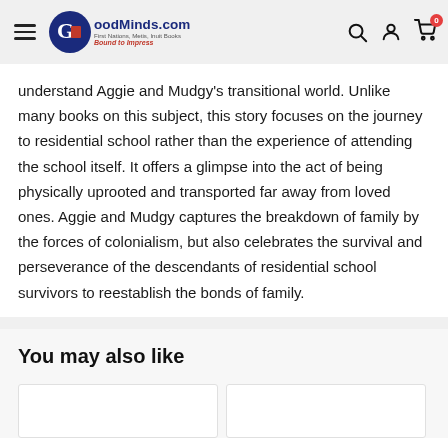GoodMinds.com | First Nations, Metis, Inuit Books | Bound to Impress
understand Aggie and Mudgy's transitional world. Unlike many books on this subject, this story focuses on the journey to residential school rather than the experience of attending the school itself. It offers a glimpse into the act of being physically uprooted and transported far away from loved ones. Aggie and Mudgy captures the breakdown of family by the forces of colonialism, but also celebrates the survival and perseverance of the descendants of residential school survivors to reestablish the bonds of family.
You may also like